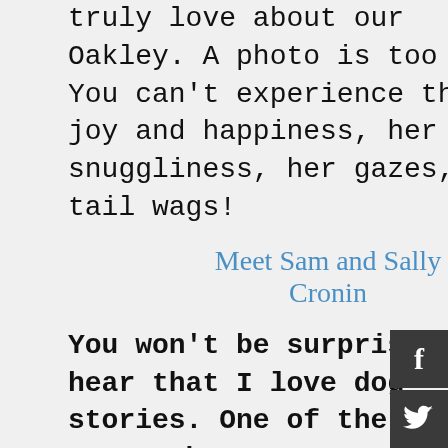truly love about our Oakley. A photo is too still. You can't experience the joy and happiness, her snuggliness, her gazes, her tail wags!
Meet Sam and Sally Cronin
You won't be surprised to hear that I love dog stories. One of the best ones I have ever read is Sam, A Shaggy Dog Story by Sally Cronin. Beautiful prose highlights this story of Sally's handsome collie dog, as